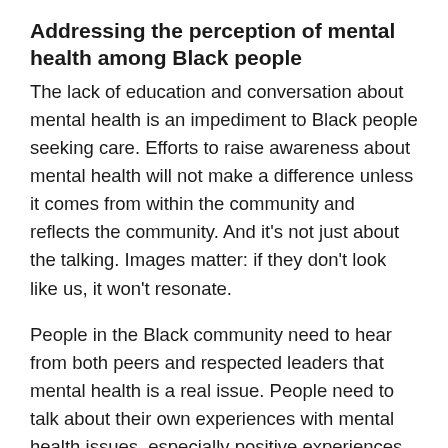Addressing the perception of mental health among Black people
The lack of education and conversation about mental health is an impediment to Black people seeking care. Efforts to raise awareness about mental health will not make a difference unless it comes from within the community and reflects the community. And it’s not just about the talking. Images matter: if they don’t look like us, it won’t resonate.
People in the Black community need to hear from both peers and respected leaders that mental health is a real issue. People need to talk about their own experiences with mental health issues, especially positive experiences, so others will feel they can talk about it too. When a person feels connected – that they are having similar experiences as other people –